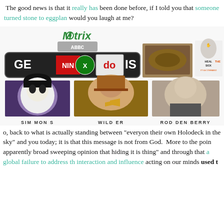The good news is that it really has been done before, if I told you that someone turned stone to eggplant would you laugh at me?
[Figure (illustration): A collage of logos and images: Matrix logo, ABBC logo, Genesis/Nintendo/Xbox/Jodis logos combined, a stone/eggplant image, a 'Heal the Sick - It's a Command' graphic with a hand, plus three celebrity photos labeled SIM MON S, WILD ER, ROD DEN BERRY.]
o, back to what is actually standing between "everyone their own Holodeck in the sky" and you today; it is that this message is not from God. More to the point, apparently broad sweeping opinion that hiding it is thing" and through that a global failure to address the interaction and influence acting on our minds used t